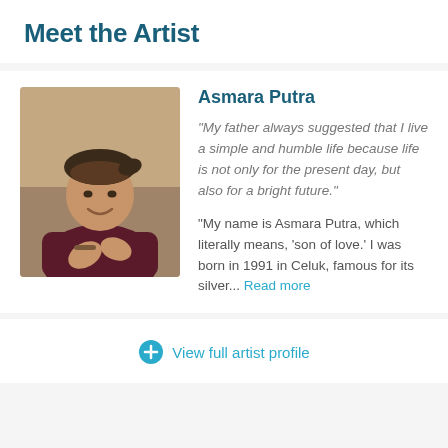Meet the Artist
[Figure (photo): Portrait photo of Asmara Putra, a young man wearing a traditional Balinese headband, smiling, dressed in a dark maroon long-sleeve shirt, with hands clasped, set against a blurred warm background.]
Asmara Putra
"My father always suggested that I live a simple and humble life because life is not only for the present day, but also for a bright future."
"My name is Asmara Putra, which literally means, 'son of love.' I was born in 1991 in Celuk, famous for its silver... Read more
+ View full artist profile